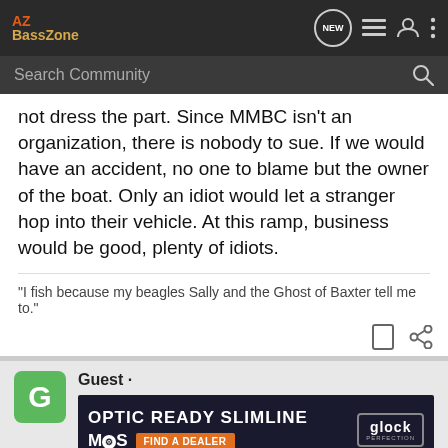AZ BassZone
not dress the part. Since MMBC isn't an organization, there is nobody to sue. If we would have an accident, no one to blame but the owner of the boat. Only an idiot would let a stranger hop into their vehicle. At this ramp, business would be good, plenty of idiots.
"I fish because my beagles Sally and the Ghost of Baxter tell me to."
Guest ·
[Figure (screenshot): Glock OPTIC READY SLIMLINE MOS advertisement banner with Find a Dealer button]